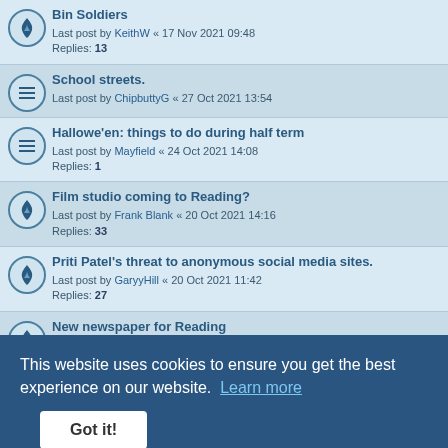Bin Soldiers
Last post by KeithW « 17 Nov 2021 09:48
Replies: 13
School streets.
Last post by ChipbuttyG « 27 Oct 2021 13:54
Hallowe'en: things to do during half term
Last post by Mayfield « 24 Oct 2021 14:08
Replies: 1
Film studio coming to Reading?
Last post by Frank Blank « 20 Oct 2021 14:16
Replies: 33
Priti Patel's threat to anonymous social media sites.
Last post by GaryyHill « 20 Oct 2021 11:42
Replies: 27
New newspaper for Reading
Last post by ChipbuttyG « 14 Oct 2021 10:26
Replies: 25
Fuel supply availability
Last post by Hooped « 13 Oct 2021 15:08
Last post by ChipbuttyG « 10 Oct 2021 12:04
Replies: 4
Reading phone numbers
Last post by Pam « 12 Aug 2021 10:08
Replies: 11
Work in Reading
This website uses cookies to ensure you get the best experience on our website. Learn more
Got it!